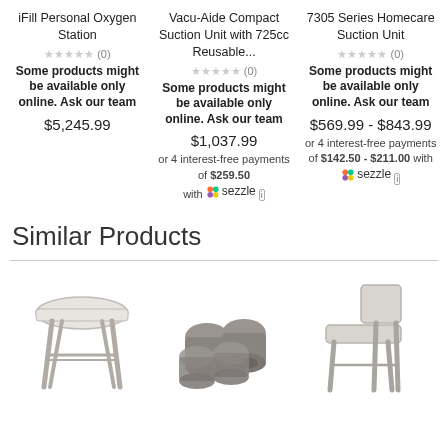iFill Personal Oxygen Station
★★★★★ (0)
Some products might be available only online. Ask our team
$5,245.99
Vacu-Aide Compact Suction Unit with 725cc Reusable...
★★★★★ (0)
Some products might be available only online. Ask our team
$1,037.99
or 4 interest-free payments of $259.50 with Sezzle
7305 Series Homecare Suction Unit
★★★★★ (0)
Some products might be available only online. Ask our team
$569.99 - $843.99
or 4 interest-free payments of $142.50 - $211.00 with Sezzle
Similar Products
[Figure (photo): Bath stool with white seat and metal legs]
[Figure (photo): Four gray rubber tips/caps for furniture legs]
[Figure (photo): Shower chair with back support and metal legs]